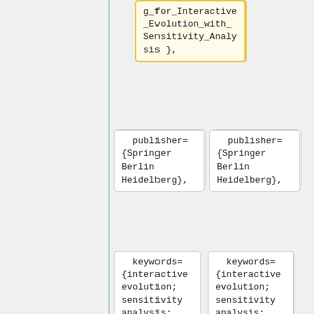g_for_Interactive_Evolution_with_Sensitivity_Analysis },
publisher={Springer Berlin Heidelberg},
publisher={Springer Berlin Heidelberg},
keywords={interactive evolution; sensitivity analysis; probabilistic genetic operators},
keywords={interactive evolution; sensitivity analysis; probabilistic genetic operators},
Aktuelle Version vom 1. November 2015, 13:03 Uhr
Inhaltsverzeichnis